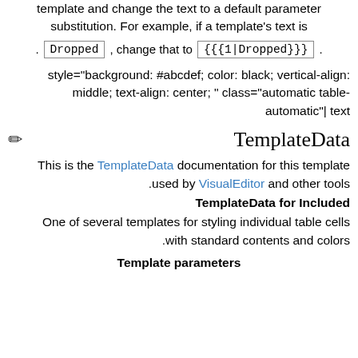the cell, do not duplicate the template. Instead, edit the template and change the text to a default parameter substitution. For example, if a template's text is . Dropped , change that to {{{1|Dropped}}}.
style="background: #abcdef; color: black; vertical-align: middle; text-align: center; " class="automatic table-automatic"| text
TemplateData
This is the TemplateData documentation for this template used by VisualEditor and other tools.
TemplateData for Included
One of several templates for styling individual table cells with standard contents and colors.
Template parameters